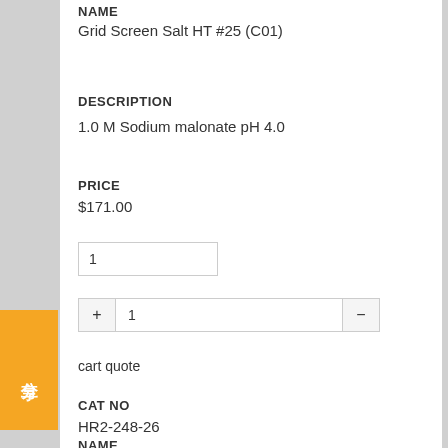NAME
Grid Screen Salt HT #25 (C01)
DESCRIPTION
1.0 M Sodium malonate pH 4.0
PRICE
$171.00
1
+ 1 −
cart quote
CAT NO
HR2-248-26
NAME